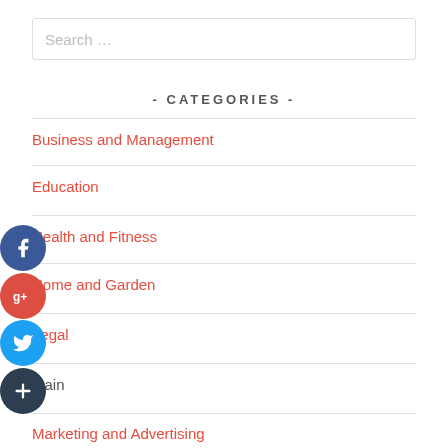Search …
- CATEGORIES -
Business and Management
Education
Health and Fitness
Home and Garden
Legal
Main
Marketing and Advertising